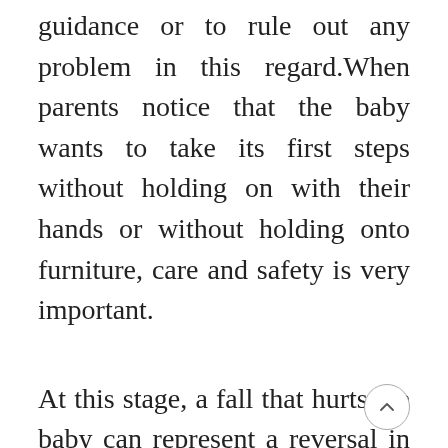guidance or to rule out any problem in this regard.When parents notice that the baby wants to take its first steps without holding on with their hands or without holding onto furniture, care and safety is very important.
At this stage, a fall that hurts the baby can represent a reversal in the process, so it is very important that you keep the baby in a safe and secure environment. In case the ba...